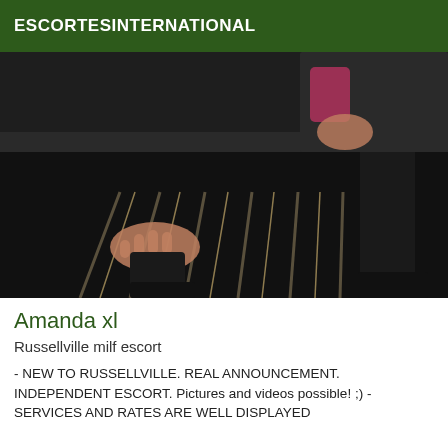ESCORTESINTERNATIONAL
[Figure (photo): A person wearing black boots and dark clothing, posing on a striped carpet/floor with a sofa in the background. Only the lower body and one hand visible.]
Amanda xl
Russellville milf escort
- NEW TO RUSSELLVILLE. REAL ANNOUNCEMENT. INDEPENDENT ESCORT. Pictures and videos possible! ;) - SERVICES AND RATES ARE WELL DISPLAYED